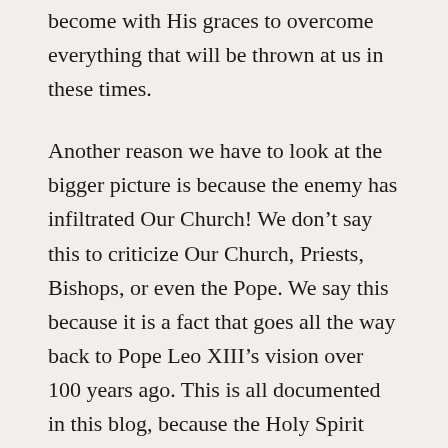become with His graces to overcome everything that will be thrown at us in these times.
Another reason we have to look at the bigger picture is because the enemy has infiltrated Our Church! We don't say this to criticize Our Church, Priests, Bishops, or even the Pope. We say this because it is a fact that goes all the way back to Pope Leo XIII's vision over 100 years ago. This is all documented in this blog, because the Holy Spirit wants us to see how we got to where we are and why Jesus is returning soon. But, this is not